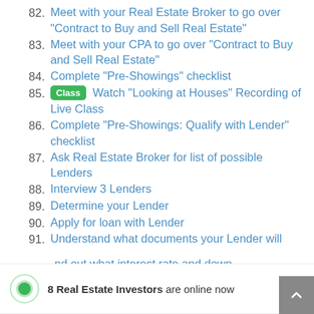82. Meet with your Real Estate Broker to go over "Contract to Buy and Sell Real Estate"
83. Meet with your CPA to go over "Contract to Buy and Sell Real Estate"
84. Complete "Pre-Showings" checklist
85. [Class] Watch "Looking at Houses" Recording of Live Class
86. Complete "Pre-Showings: Qualify with Lender" checklist
87. Ask Real Estate Broker for list of possible Lenders
88. Interview 3 Lenders
89. Determine your Lender
90. Apply for loan with Lender
91. Understand what documents your Lender will...
...find out what interest rate and down
8 Real Estate Investors are online now